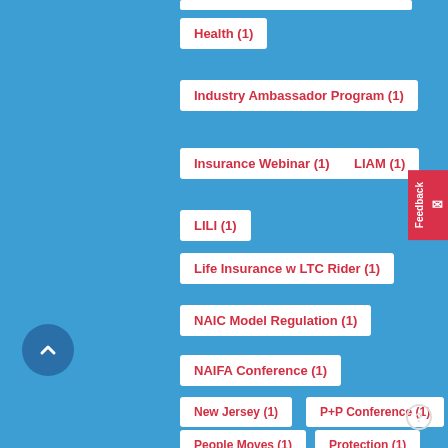Health (1)
Industry Ambassador Program (1)
Insurance Webinar (1)
LIAM (1)
LILI (1)
Life Insurance w LTC Rider (1)
NAIC Model Regulation (1)
NAIFA Conference (1)
New Jersey (1)
P+P Conference (1)
People Moves (1)
Protection (1)
Security (1)
Seniors (1)